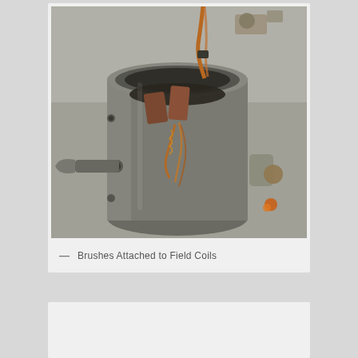[Figure (photo): Close-up photograph of brushes attached to field coils inside a cylindrical motor housing, showing carbon brushes, copper wiring, and internal mechanical components on a workshop floor background.]
— Brushes Attached to Field Coils